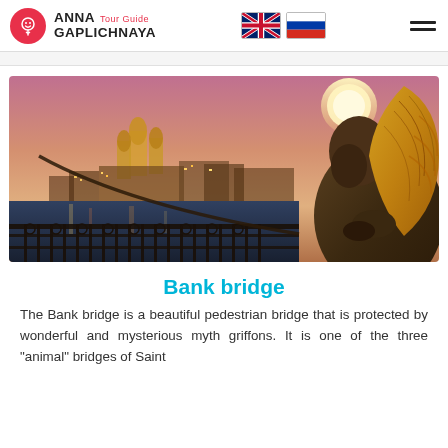ANNA GAPLICHNAYA Tour Guide
[Figure (photo): View from Bank Bridge in Saint Petersburg at dusk, showing the Church of the Savior on Blood illuminated in the background, city lights reflecting on the canal, decorative iron railings in the foreground, and a golden griffon statue on the right side holding a chain.]
Bank bridge
The Bank bridge is a beautiful pedestrian bridge that is protected by wonderful and mysterious myth griffons. It is one of the three "animal" bridges of Saint